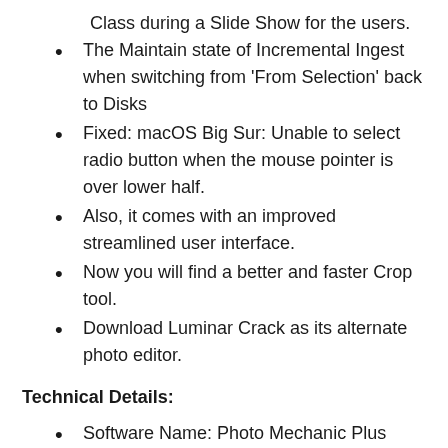Class during a Slide Show for the users.
The Maintain state of Incremental Ingest when switching from 'From Selection' back to Disks
Fixed: macOS Big Sur: Unable to select radio button when the mouse pointer is over lower half.
Also, it comes with an improved streamlined user interface.
Now you will find a better and faster Crop tool.
Download Luminar Crack as its alternate photo editor.
Technical Details:
Software Name: Photo Mechanic Plus